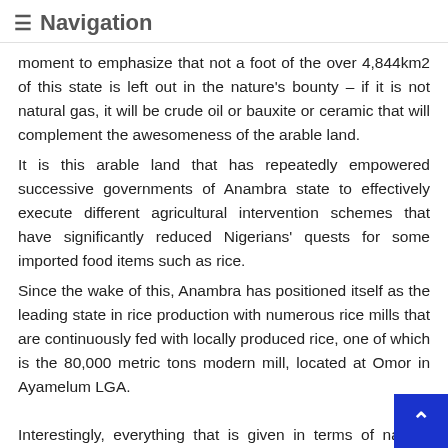≡ Navigation
moment to emphasize that not a foot of the over 4,844km2 of this state is left out in the nature's bounty – if it is not natural gas, it will be crude oil or bauxite or ceramic that will complement the awesomeness of the arable land.
It is this arable land that has repeatedly empowered successive governments of Anambra state to effectively execute different agricultural intervention schemes that have significantly reduced Nigerians' quests for some imported food items such as rice.
Since the wake of this, Anambra has positioned itself as the leading state in rice production with numerous rice mills that are continuously fed with locally produced rice, one of which is the 80,000 metric tons modern mill, located at Omor in Ayamelum LGA.
Interestingly, everything that is given in terms of nat resources is doubled many times over in terms of hu